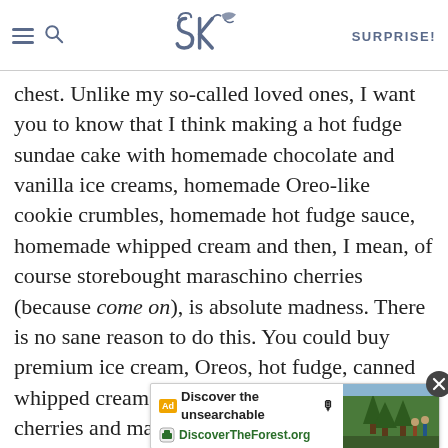SK | SURPRISE!
chest. Unlike my so-called loved ones, I want you to know that I think making a hot fudge sundae cake with homemade chocolate and vanilla ice creams, homemade Oreo-like cookie crumbles, homemade hot fudge sauce, homemade whipped cream and then, I mean, of course storebought maraschino cherries (because come on), is absolute madness. There is no sane reason to do this. You could buy premium ice cream, Oreos, hot fudge, canned whipped cream and have my remaining jarred cherries and make an excellent hot fudge sundae cake. I will even explain how below. You could also make some of this stuff (the cookies or the ice creams or just the fudge) and not all of it and still be considered, for all intents and purposes, a hero among friends. I repeat
[Figure (screenshot): Ad overlay: 'Discover the unsearchable' / DiscoverTheForest.org with forest photo and close button]